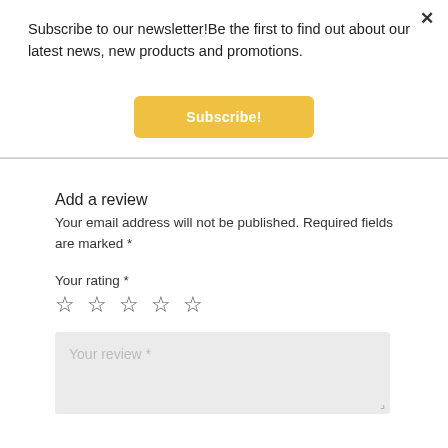Subscribe to our newsletter!Be the first to find out about our latest news, new products and promotions.
Subscribe!
Add a review
Your email address will not be published. Required fields are marked *
Your rating *
☆ ☆ ☆ ☆ ☆
Your review *